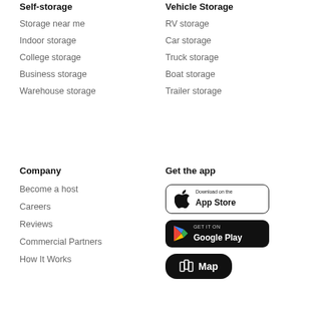Self-storage
Storage near me
Indoor storage
College storage
Business storage
Warehouse storage
Vehicle Storage
RV storage
Car storage
Truck storage
Boat storage
Trailer storage
Company
Become a host
Careers
Reviews
Commercial Partners
How It Works
Get the app
[Figure (screenshot): Download on the App Store button]
[Figure (screenshot): Get it on Google Play button]
[Figure (other): Map button]